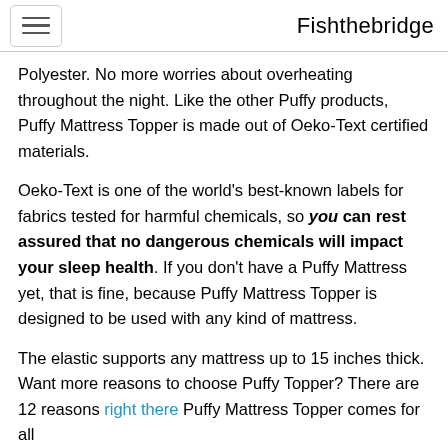Fishthebridge
Polyester. No more worries about overheating throughout the night. Like the other Puffy products, Puffy Mattress Topper is made out of Oeko-Text certified materials.
Oeko-Text is one of the world’s best-known labels for fabrics tested for harmful chemicals, so you can rest assured that no dangerous chemicals will impact your sleep health. If you don’t have a Puffy Mattress yet, that is fine, because Puffy Mattress Topper is designed to be used with any kind of mattress.
The elastic supports any mattress up to 15 inches thick. Want more reasons to choose Puffy Topper? There are 12 reasons right there Puffy Mattress Topper comes for all